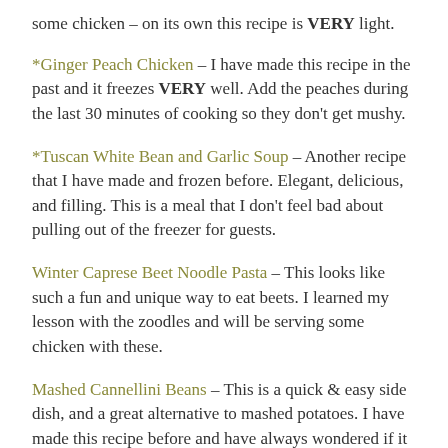some chicken – on its own this recipe is VERY light.
*Ginger Peach Chicken – I have made this recipe in the past and it freezes VERY well. Add the peaches during the last 30 minutes of cooking so they don't get mushy.
*Tuscan White Bean and Garlic Soup – Another recipe that I have made and frozen before. Elegant, delicious, and filling. This is a meal that I don't feel bad about pulling out of the freezer for guests.
Winter Caprese Beet Noodle Pasta – This looks like such a fun and unique way to eat beets. I learned my lesson with the zoodles and will be serving some chicken with these.
Mashed Cannellini Beans – This is a quick & easy side dish, and a great alternative to mashed potatoes. I have made this recipe before and have always wondered if it would freeze well, so I will be experimenting with that.